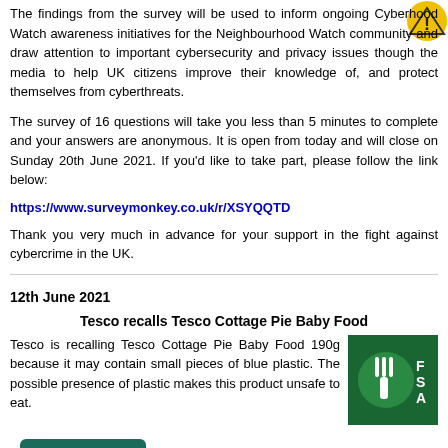The findings from the survey will be used to inform ongoing Cyberhood Watch awareness initiatives for the Neighbourhood Watch community and draw attention to important cybersecurity and privacy issues though the media to help UK citizens improve their knowledge of, and protect themselves from, cyberthreats.
The survey of 16 questions will take you less than 5 minutes to complete and your answers are anonymous. It is open from today and will close on Sunday 20th June 2021. If you'd like to take part, please follow the link below:
https://www.surveymonkey.co.uk/r/XSYQQTD
Thank you very much in advance for your support in the fight against cybercrime in the UK.
12th June 2021
Tesco recalls Tesco Cottage Pie Baby Food
Tesco is recalling Tesco Cottage Pie Baby Food 190g because it may contain small pieces of blue plastic. The possible presence of plastic makes this product unsafe to eat.
[Figure (logo): Food Standards Agency logo - green background with fork icon and partial text 'Fo St Ag']
Read more
12th June 2021